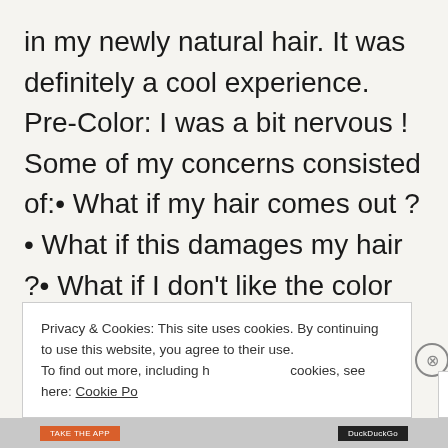in my newly natural hair. It was definitely a cool experience. Pre-Color: I was a bit nervous ! Some of my concerns consisted of:• What if my hair comes out ?• What if this damages my hair ?• What if I don't like the color ...
Privacy & Cookies: This site uses cookies. By continuing to use this website, you agree to their use.
To find out more, including how to control cookies, see here: Cookie Policy